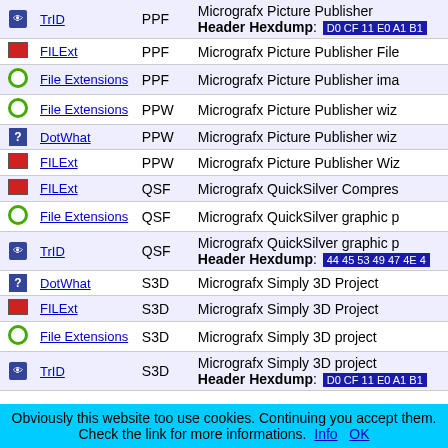| Icon | Source | Ext | Description |
| --- | --- | --- | --- |
| TrID icon | TrID | PPF | Micrografx Picture Publisher File | Header Hexdump: D0 CF 11 E0 A1 B1 |
| monitor icon | FILExt | PPF | Micrografx Picture Publisher File |
| circle icon | File Extensions | PPF | Micrografx Picture Publisher ima... |
| circle icon | File Extensions | PPW | Micrografx Picture Publisher wiz... |
| q icon | DotWhat | PPW | Micrografx Picture Publisher wiz... |
| monitor icon | FILExt | PPW | Micrografx Picture Publisher Wiz... |
| monitor icon | FILExt | QSF | Micrografx QuickSilver Compres... |
| circle icon | File Extensions | QSF | Micrografx QuickSilver graphic p... |
| eye icon | TrID | QSF | Micrografx QuickSilver graphic p... | Header Hexdump: 44 45 53 49 47 4E 4... |
| q icon | DotWhat | S3D | Micrografx Simply 3D Project |
| monitor icon | FILExt | S3D | Micrografx Simply 3D Project |
| circle icon | File Extensions | S3D | Micrografx Simply 3D project |
| eye icon | TrID | S3D | Micrografx Simply 3D project | Header Hexdump: D0 CF 11 E0 A1 B1 |
| q icon | DotWhat | SBJ | Clipart Index Micrografx Clipart... |
| monitor icon | FILExt | SBJ | Clipart Index Micrografx Clipart... |
| eye icon | TrID | SBJ | Micrografx clipart index | Header Hexdump: D0 CF 11 E0 A1 B1 |
Obviously this website too use cookies. Continuing you accept them. Check the link for more informations. Info OK